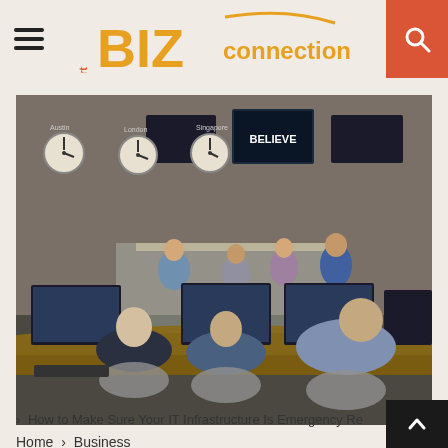smart BIZ Connection
[Figure (photo): IT operations center with multiple people seated at workstations with monitors, and several standing people visible through a glass partition. Wall-mounted monitors and clocks visible at back.]
Home › Business
› How to Make Sure Your IT Infrastructure Is Emergency Re